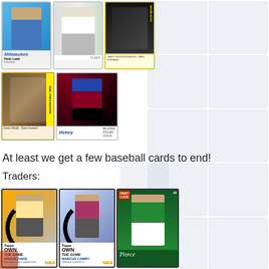[Figure (photo): Collection of sports trading cards arranged in a grid. Top row shows three baseball cards: Peter Ladd (Milwaukee Brewers, blue uniform), a Seattle Mariners player (Fleer card), and a 'Mound Aces' multi-player card with yellow border. Second row shows a 'Rival Fence Busters' baseball card (David Wright / Ryan Howard) with yellow stripe and a hockey player card (Victory brand, Wojtek Polski, Colorado Avalanche). Right side shows multiple faded/background hockey cards (Toronto Maple Leafs style). Bottom section shows three basketball cards: Baron Davis (Topps Own the Game, Golden State Warriors), Marcus Camby (Topps Own the Game, Denver Nuggets), and Paul Pierce (Celtics, green uniform). Bottom left has a partially visible card.]
At least we get a few baseball cards to end!
Traders: